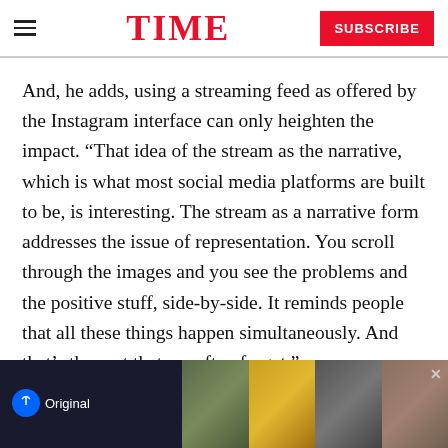TIME  SUBSCRIBE
And, he adds, using a streaming feed as offered by the Instagram interface can only heighten the impact. “That idea of the stream as the narrative, which is what most social media platforms are built to be, is interesting. The stream as a narrative form addresses the issue of representation. You scroll through the images and you see the problems and the positive stuff, side-by-side. It reminds people that all these things happen simultaneously. And that’s the part that we often forget.”
The Everyday exhibition is on at Photoville from Sep/Oct...
[Figure (photo): Advertisement banner for Paramount Original streaming content, showing collage of movie/show stills with close button]